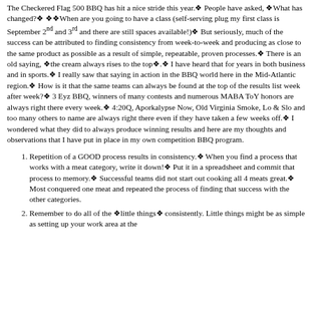The Checkered Flag 500 BBQ has hit a nice stride this year.❖ People have asked, ❖What has changed?❖ ❖❖When are you going to have a class (self-serving plug my first class is September 2nd and 3rd and there are still spaces available!)❖ But seriously, much of the success can be attributed to finding consistency from week-to-week and producing as close to the same product as possible as a result of simple, repeatable, proven processes.❖ There is an old saying, ❖the cream always rises to the top❖.❖ I have heard that for years in both business and in sports.❖ I really saw that saying in action in the BBQ world here in the Mid-Atlantic region.❖ How is it that the same teams can always be found at the top of the results list week after week?❖ 3 Eyz BBQ, winners of many contests and numerous MABA ToY honors are always right there every week.❖ 4:20Q, Aporkalypse Now, Old Virginia Smoke, Lo & Slo and too many others to name are always right there even if they have taken a few weeks off.❖ I wondered what they did to always produce winning results and here are my thoughts and observations that I have put in place in my own competition BBQ program.
Repetition of a GOOD process results in consistency.❖ When you find a process that works with a meat category, write it down!❖ Put it in a spreadsheet and commit that process to memory.❖ Successful teams did not start out cooking all 4 meats great.❖ Most conquered one meat and repeated the process of finding that success with the other categories.
Remember to do all of the ❖little things❖ consistently. Little things might be as simple as setting up your work area at the